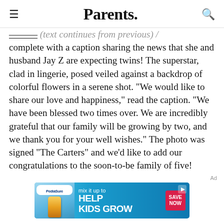Parents.
complete with a caption sharing the news that she and husband Jay Z are expecting twins! The superstar, clad in lingerie, posed veiled against a backdrop of colorful flowers in a serene shot. "We would like to share our love and happiness," read the caption. "We have been blessed two times over. We are incredibly grateful that our family will be growing by two, and we thank you for your well wishes." The photo was signed "The Carters" and we'd like to add our congratulations to the soon-to-be family of five!
[Figure (photo): PediaSure advertisement banner: 'mix it up to HELP KIDS GROW' with a Save Now button]